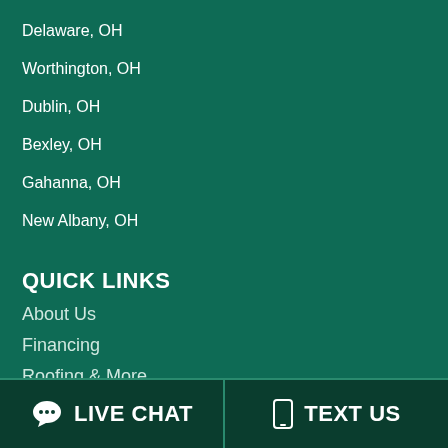Delaware, OH
Worthington, OH
Dublin, OH
Bexley, OH
Gahanna, OH
New Albany, OH
QUICK LINKS
About Us
Financing
Roofing & More
Roofing FAQ's & Glossary
Storm Damage
View Our Work
Reviews
LIVE CHAT   TEXT US